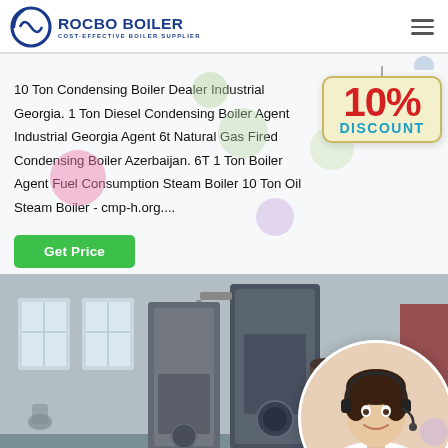ROCBO BOILER - COST-EFFECTIVE BOILER SUPPLIER
10 Ton Condensing Boiler Dealer Industrial Georgia. 1 Ton Diesel Condensing Boiler Agent Industrial Georgia Agent 6t Natural Gas Fired Condensing Boiler Azerbaijan. 6T 1 Ton Boiler Agent Fuel Consumption Steam Boiler 10 Ton Oil Steam Boiler - cmp-h.org....
Get Price
[Figure (infographic): 10% DISCOUNT badge sign with red text '10%' and teal 'DISCOUNT' on a cream-colored hanging sign]
[Figure (photo): Industrial boiler equipment in a facility, large vertical boiler units visible, with a circular inset photo of a female customer service representative wearing a headset]